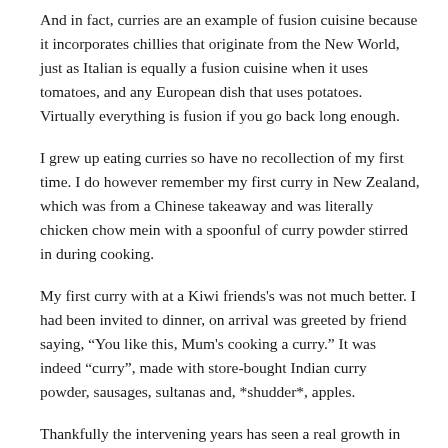And in fact, curries are an example of fusion cuisine because it incorporates chillies that originate from the New World, just as Italian is equally a fusion cuisine when it uses tomatoes, and any European dish that uses potatoes. Virtually everything is fusion if you go back long enough.
I grew up eating curries so have no recollection of my first time. I do however remember my first curry in New Zealand, which was from a Chinese takeaway and was literally chicken chow mein with a spoonful of curry powder stirred in during cooking.
My first curry with at a Kiwi friends's was not much better. I had been invited to dinner, on arrival was greeted by friend saying, “You like this, Mum's cooking a curry.” It was indeed “curry”, made with store-bought Indian curry powder, sausages, sultanas and, *shudder*, apples.
Thankfully the intervening years has seen a real growth in the availability of authentic options.
Auckland • Since Apr 2013 • 145 posts